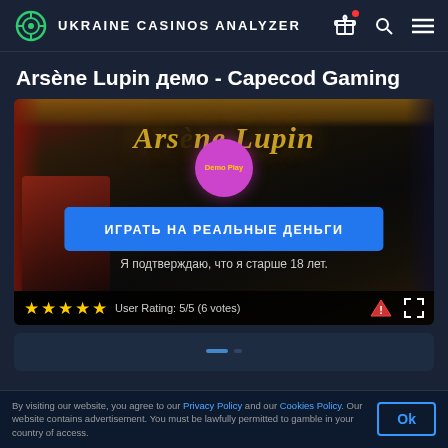UKRAINE CASINOS ANALYZER
Arsène Lupin демо - Capecod Gaming
[Figure (screenshot): Game preview for Arsène Lupin slot by Capecod Gaming. Shows the game logo in gold italic text, a pink/magenta circular play button with 'Demo Play' text, a blue 'ИГРАТЬ НА РЕАЛЬНЫЕ ДЕНЬГИ' (Play for Real Money) button, age confirmation text 'Я подтверждаю, что я старше 18 лет.', and a female character on the left. Bottom bar shows 5 gold stars and 'User Rating: 5/5 (6 votes)' with warning and fullscreen icons.]
By visiting our website, you agree to our Privacy Policy and our Cookies Policy. Our website contains advertisement. You must be lawfully permitted to gamble in your country of access.